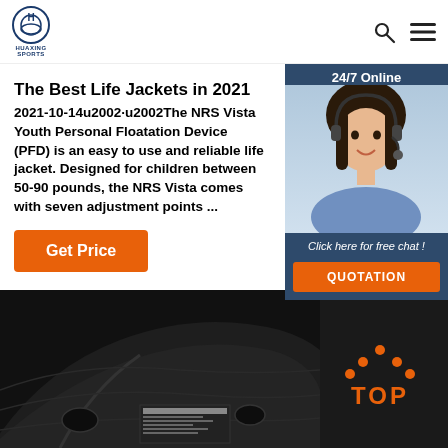HUAXING SPORTS
The Best Life Jackets in 2021
2021-10-14u2002·u2002The NRS Vista Youth Personal Floatation Device (PFD) is an easy to use and reliable life jacket. Designed for children between 50-90 pounds, the NRS Vista comes with seven adjustment points ...
Get Price
[Figure (screenshot): 24/7 online chat widget with agent photo and QUOTATION button]
[Figure (photo): Black life jacket / neoprene vest closeup on dark background]
[Figure (infographic): TOP button with orange dots above orange text TOP]